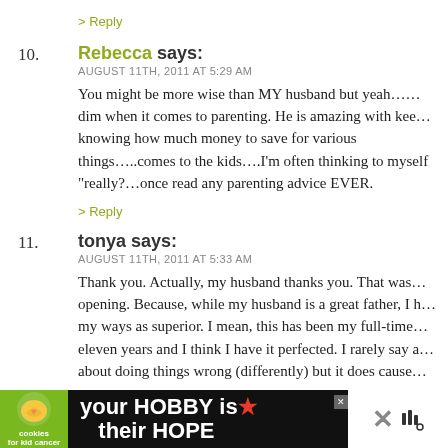> Reply
10. Rebecca says: AUGUST 11TH, 2011 AT 5:29 AM — You might be more wise than MY husband but yeah.....dim when it comes to parenting. He is amazing with kee...knowing how much money to save for various things.....comes to the kids....I'm often thinking to myself "really?...once read any parenting advice EVER.
> Reply
11. tonya says: AUGUST 11TH, 2011 AT 5:33 AM — Thank you. Actually, my husband thanks you. That was...opening. Because, while my husband is a great father, I h...my ways as superior. I mean, this has been my full-time...eleven years and I think I have it perfected. I rarely say a...about doing things wrong (differently) but it does cause...
[Figure (advertisement): Cookies for Kid Cancer advertisement banner with green logo, heart-shaped cookie, and text 'your HOBBY is their HOPE']